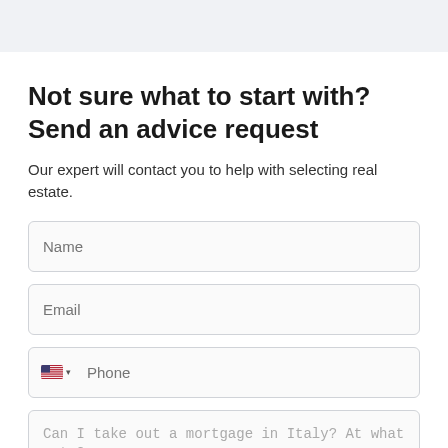Not sure what to start with? Send an advice request
Our expert will contact you to help with selecting real estate.
Name
Email
Phone
Can I take out a mortgage in Italy? At what rate?